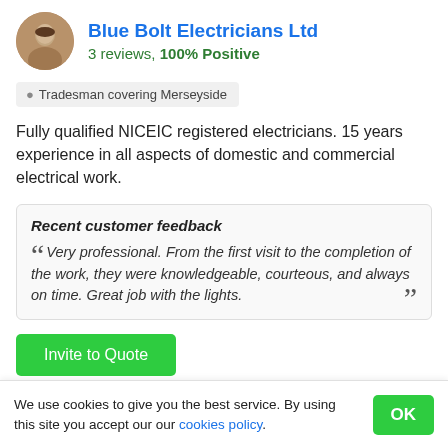Blue Bolt Electricians Ltd
3 reviews, 100% Positive
Tradesman covering Merseyside
Fully qualified NICEIC registered electricians. 15 years experience in all aspects of domestic and commercial electrical work.
Recent customer feedback
Very professional. From the first visit to the completion of the work, they were knowledgeable, courteous, and always on time. Great job with the lights.
Invite to Quote
We use cookies to give you the best service. By using this site you accept our our cookies policy.